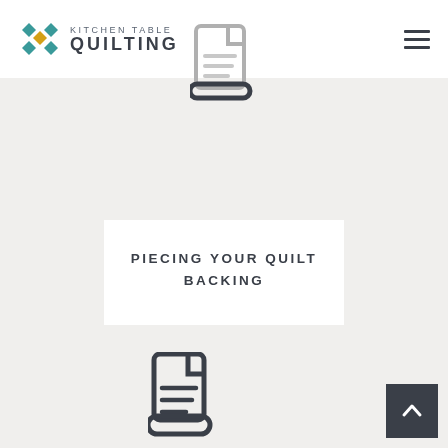Kitchen Table Quilting
[Figure (illustration): Document/file icon with lines representing text, partially shown at top center of page]
PIECING YOUR QUILT BACKING
[Figure (illustration): Document/file icon with lines representing text, shown at bottom center of page]